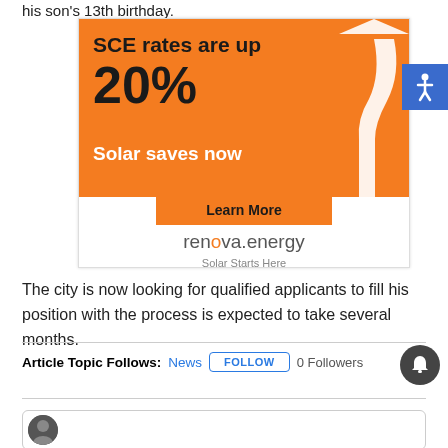his son's 13th birthday.
[Figure (infographic): Orange advertisement for renova.energy solar company. Text reads: SCE rates are up 20% - Solar saves now. White arrow graphic going up. Learn More button. renova.energy logo. Solar Starts Here tagline.]
[Figure (infographic): Blue accessibility icon button with wheelchair symbol]
The city is now looking for qualified applicants to fill his position with the process is expected to take several months.
Article Topic Follows: News  FOLLOW  0 Followers